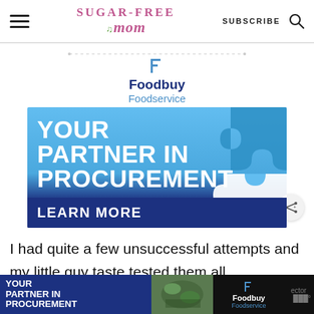Sugar-Free Mom | SUBSCRIBE
[Figure (infographic): Foodbuy Foodservice advertisement: YOUR PARTNER IN PROCUREMENT with blue puzzle piece graphic and LEARN MORE button]
I had quite a few unsuccessful attempts and my little guy taste tested them all.
[Figure (infographic): Bottom banner ad: YOUR PARTNER IN PROCUREMENT - Foodbuy Foodservice advertisement with food photo]